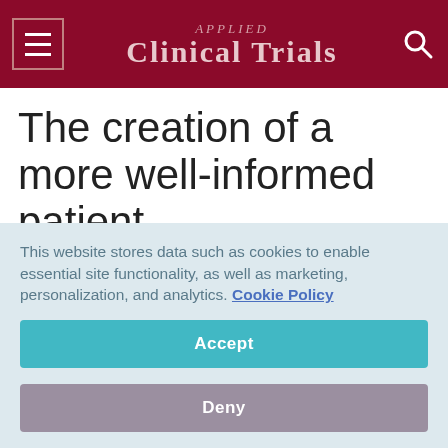Applied Clinical Trials
The creation of a more well-informed patient
Though the science behind drug development and clinical trials has rapidly increased in complexity, it's the digital age that has catalyzed patient centricity.  Easy access to credible medical information has reduced or removed many of the
This website stores data such as cookies to enable essential site functionality, as well as marketing, personalization, and analytics. Cookie Policy
Accept
Deny